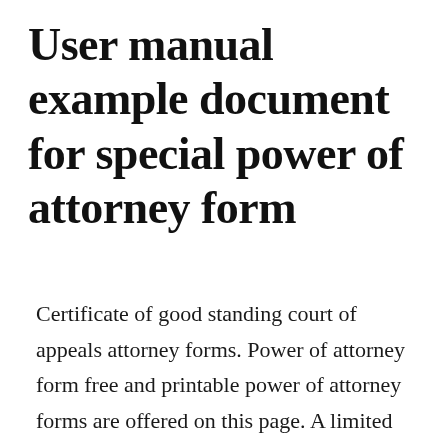User manual example document for special power of attorney form
Certificate of good standing court of appeals attorney forms. Power of attorney form free and printable power of attorney forms are offered on this page. A limited power of attorney is also referred to as the following.